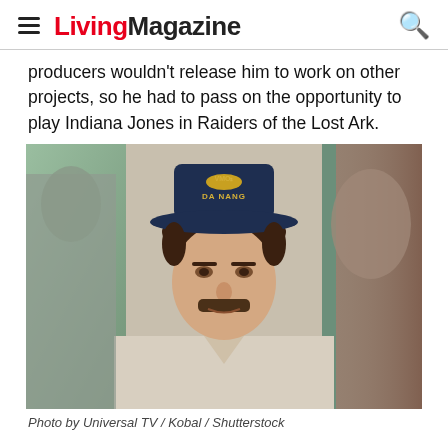Living Magazine
producers wouldn't release him to work on other projects, so he had to pass on the opportunity to play Indiana Jones in Raiders of the Lost Ark.
[Figure (photo): Man wearing a dark navy 'Da Nang' baseball cap with a mustache, wearing a light-colored shirt, photographed close-up with a blurred green and brown background.]
Photo by Universal TV / Kobal / Shutterstock